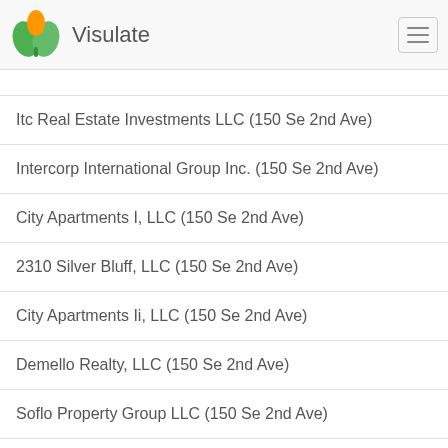Visulate
Itc Real Estate Investments LLC (150 Se 2nd Ave)
Intercorp International Group Inc. (150 Se 2nd Ave)
City Apartments I, LLC (150 Se 2nd Ave)
2310 Silver Bluff, LLC (150 Se 2nd Ave)
City Apartments Ii, LLC (150 Se 2nd Ave)
Demello Realty, LLC (150 Se 2nd Ave)
Soflo Property Group LLC (150 Se 2nd Ave)
C & D International Systems, Inc. (150 Se 2nd Ave)
M2m Telecom LLC (150 Se 2nd Ave 3rd Floor)